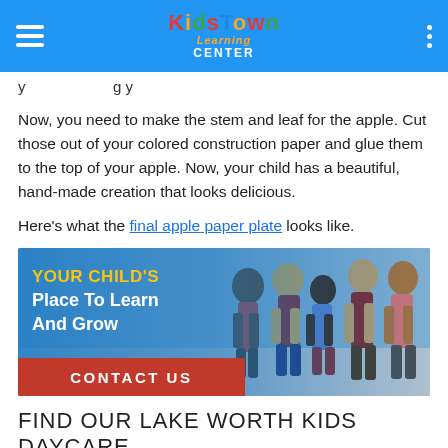Kidstown Learning Center
y … g y …
Now, you need to make the stem and leaf for the apple. Cut those out of your colored construction paper and glue them to the top of your apple. Now, your child has a beautiful, hand-made creation that looks delicious.
Here's what the final apple paper plate looks like.
[Figure (photo): Promotional banner for Kidstown Learning Center showing children with backpacks. Text reads 'YOUR CHILD'S Place To Learn And Grow' with a red 'CONTACT US' button overlay.]
FIND OUR LAKE WORTH KIDS DAYCARE
When it comes to fall-themed projects, your options are endless. If you are looking for a kids daycare in Lake Worth,